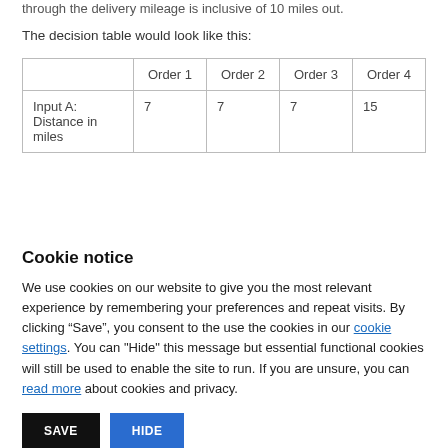through the delivery mileage is inclusive of 10 miles out.
The decision table would look like this:
|  | Order 1 | Order 2 | Order 3 | Order 4 |
| --- | --- | --- | --- | --- |
| Input A: Distance in miles | 7 | 7 | 7 | 15 |
Cookie notice
We use cookies on our website to give you the most relevant experience by remembering your preferences and repeat visits. By clicking “Save”, you consent to the use the cookies in our cookie settings. You can "Hide" this message but essential functional cookies will still be used to enable the site to run. If you are unsure, you can read more about cookies and privacy.
SAVE
HIDE